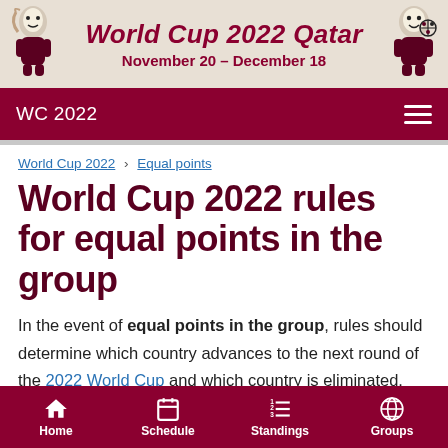[Figure (illustration): World Cup 2022 Qatar header banner with mascot figures on left and right, dark red title text on beige background reading 'World Cup 2022 Qatar' and 'November 20 - December 18']
WC 2022
World Cup 2022 › Equal points
World Cup 2022 rules for equal points in the group
In the event of equal points in the group, rules should determine which country advances to the next round of the 2022 World Cup and which country is eliminated.
Home  Schedule  Standings  Groups